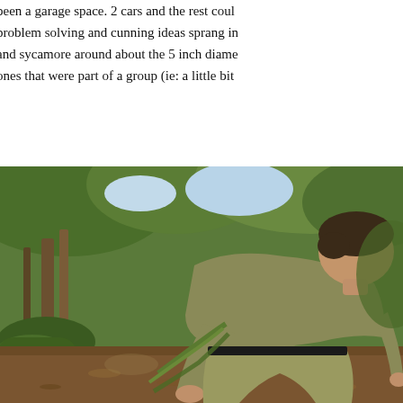been a garage space. 2 cars and the rest coul... problem solving and cunning ideas sprang in... and sycamore around about the 5 inch diame... ones that were part of a group (ie: a little bit ...
[Figure (photo): A man wearing an olive/khaki long-sleeve shirt and cargo trousers, bending over in a woodland setting, working with plants or branches on the forest floor. There are moss-covered tree roots, leaf litter, and dense green woodland vegetation in the background.]